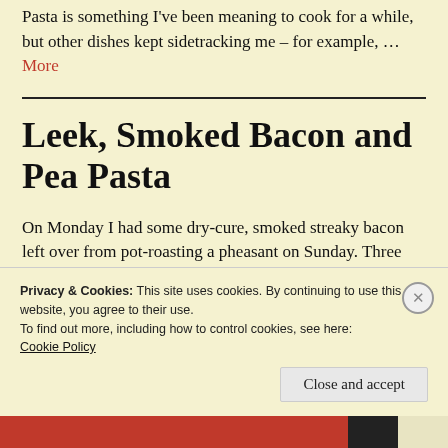Pasta is something I've been meaning to cook for a while, but other dishes kept sidetracking me – for example, … More
Leek, Smoked Bacon and Pea Pasta
On Monday I had some dry-cure, smoked streaky bacon left over from pot-roasting a pheasant on Sunday. Three pieces to … More
Privacy & Cookies: This site uses cookies. By continuing to use this website, you agree to their use.
To find out more, including how to control cookies, see here: Cookie Policy